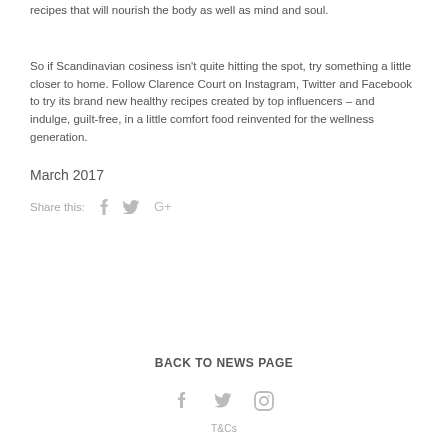recipes that will nourish the body as well as mind and soul.
So if Scandinavian cosiness isn't quite hitting the spot, try something a little closer to home. Follow Clarence Court on Instagram, Twitter and Facebook to try its brand new healthy recipes created by top influencers – and indulge, guilt-free, in a little comfort food reinvented for the wellness generation.
March 2017
Share this: f  t  G+
BACK TO NEWS PAGE
f  t  ◎  T&Cs